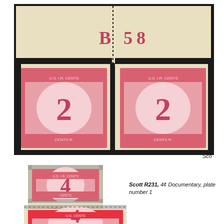[Figure (photo): Top section: a pair of US 2-cent Documentary revenue stamps with plate number 'B 58' in margin above, dark perforated border around the block, stamps showing numeral '2' in rose/carmine color]
Sco
[Figure (photo): Single US 4-cent Documentary revenue stamp with plate number '10741' below, light cream margin at bottom, stamp showing numeral '4' in rose color]
Scott R231, 4¢ Documentary, plate number 1
[Figure (photo): Partial view of another US 4-cent Documentary revenue stamp showing numeral '4' with perforations visible at top, cropped at bottom of page]